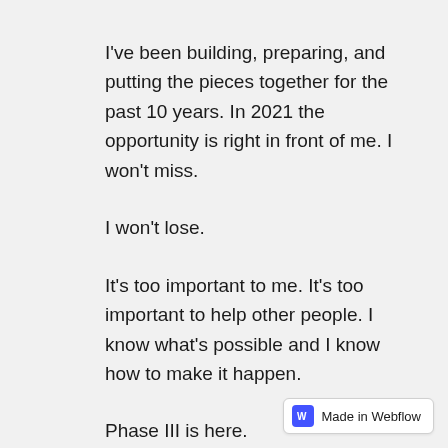I've been building, preparing, and putting the pieces together for the past 10 years. In 2021 the opportunity is right in front of me. I won't miss.
I won't lose.
It's too important to me. It's too important to help other people. I know what's possible and I know how to make it happen.
Phase III is here.